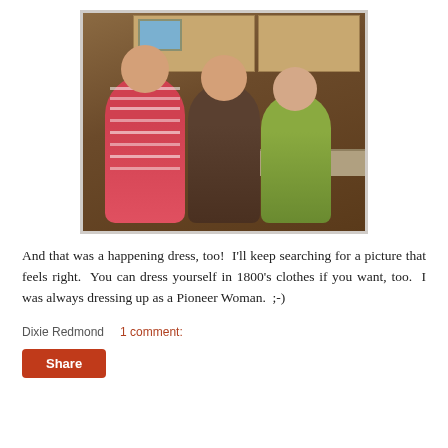[Figure (photo): Vintage photograph of three young children standing in a kitchen. The child on the left wears a pink striped dress and glasses, the middle child wears a dark jacket, and the child on the right wears a green top. The background shows kitchen cabinets and countertops. The photo has a warm, brownish-orange aged tone.]
And that was a happening dress, too!  I'll keep searching for a picture that feels right.  You can dress yourself in 1800's clothes if you want, too.  I was always dressing up as a Pioneer Woman.  ;-)
Dixie Redmond    1 comment:
Share